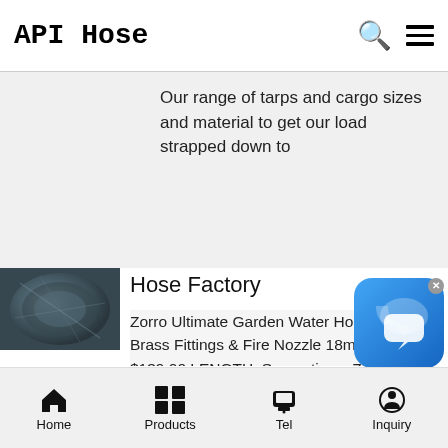API Hose
Our range of tarps and cargo sizes and material to get our load strapped down to
[Figure (photo): Coiled metal hose or wire product thumbnail]
Hose Factory
Zorro Ultimate Garden Water Hose with Brass Fittings & Fire Nozzle 18mm. from $139.00 LENGTH. See options. ZORRO Ultimate Garden Water Hose 18mm. from $65.00 LENGTH See options. Zorro Ultimate Garden Hose with set of Plastic Fittings and Nozzle 18mm Suction, Dairy Wash down, Hot Water, Diesel, Hydraulic etc. All our Hoses are made in
[Figure (screenshot): Chat/messaging app icon overlay with blue gradient background and speech bubble icons, with X close button]
Home  Products  Tel  Inquiry